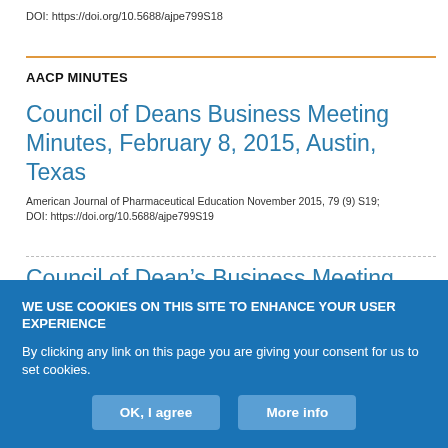DOI: https://doi.org/10.5688/ajpe799S18
AACP MINUTES
Council of Deans Business Meeting Minutes, February 8, 2015, Austin, Texas
American Journal of Pharmaceutical Education November 2015, 79 (9) S19; DOI: https://doi.org/10.5688/ajpe799S19
Council of Dean’s Business Meeting, Monday, July 13, 2015, National Harbor
WE USE COOKIES ON THIS SITE TO ENHANCE YOUR USER EXPERIENCE
By clicking any link on this page you are giving your consent for us to set cookies.